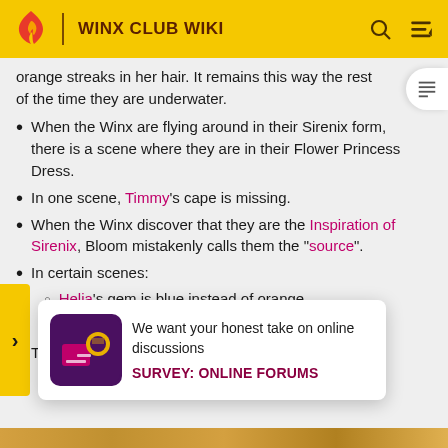WINX CLUB WIKI
orange streaks in her hair. It remains this way the rest of the time they are underwater.
When the Winx are flying around in their Sirenix form, there is a scene where they are in their Flower Princess Dress.
In one scene, Timmy's cape is missing.
When the Winx discover that they are the Inspiration of Sirenix, Bloom mistakenly calls them the "source".
In certain scenes:
Helia's gem is blue instead of orange.
Riven's gem is blue instead of pink.
T... are s...
[Figure (screenshot): Survey popup overlay with yellow sidebar arrow, purple image icon, text 'We want your honest take on online discussions' and bold link 'SURVEY: ONLINE FORUMS']